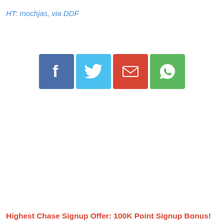HT: mochjas, via DDF
[Figure (infographic): Four social share buttons: Facebook (blue), Twitter (light blue), Email (red), WhatsApp (green)]
Highest Chase Signup Offer: 100K Point Signup Bonus!